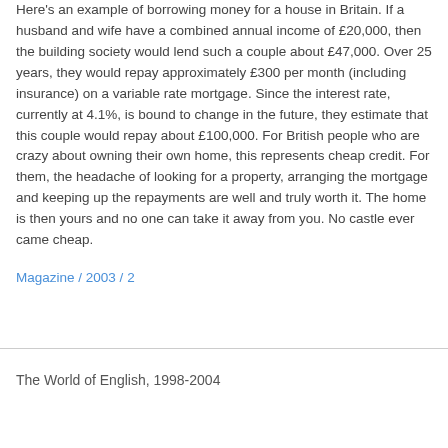Here's an example of borrowing money for a house in Britain. If a husband and wife have a combined annual income of £20,000, then the building society would lend such a couple about £47,000. Over 25 years, they would repay approximately £300 per month (including insurance) on a variable rate mortgage. Since the interest rate, currently at 4.1%, is bound to change in the future, they estimate that this couple would repay about £100,000. For British people who are crazy about owning their own home, this represents cheap credit. For them, the headache of looking for a property, arranging the mortgage and keeping up the repayments are well and truly worth it. The home is then yours and no one can take it away from you. No castle ever came cheap.
Magazine / 2003 / 2
The World of English, 1998-2004